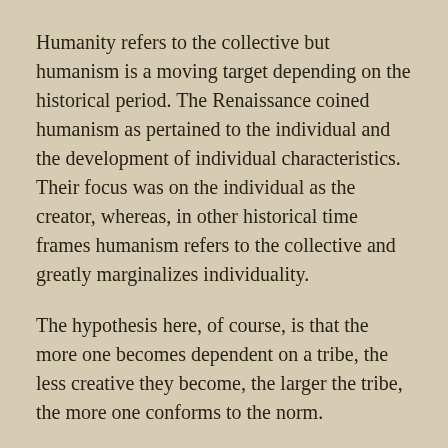Humanity refers to the collective but humanism is a moving target depending on the historical period. The Renaissance coined humanism as pertained to the individual and the development of individual characteristics. Their focus was on the individual as the creator, whereas, in other historical time frames humanism refers to the collective and greatly marginalizes individuality.
The hypothesis here, of course, is that the more one becomes dependent on a tribe, the less creative they become, the larger the tribe, the more one conforms to the norm.
Artist's fall into the trap of conformity in their insecurity within the creative process. The more one needs the approval of the collective, the less likely it becomes that they will achieve anything of note creatively.
To continue...